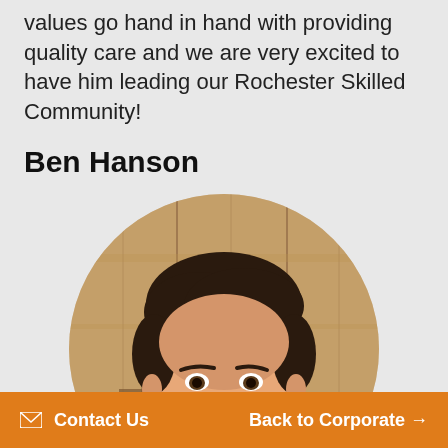values go hand in hand with providing quality care and we are very excited to have him leading our Rochester Skilled Community!
Ben Hanson
[Figure (photo): Circular headshot photo of Ben Hanson, a man with dark hair smiling, standing in front of a wooden plank background.]
✉ Contact Us    Back to Corporate →